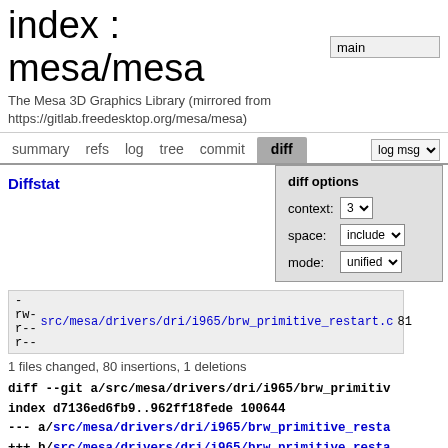index : mesa/mesa
The Mesa 3D Graphics Library (mirrored from https://gitlab.freedesktop.org/mesa/mesa)
summary  refs  log  tree  commit  diff
Diffstat
diff options
context: 3
space: include
mode: unified
-rw-r--r-- src/mesa/drivers/dri/i965/brw_primitive_restart.c 81
1 files changed, 80 insertions, 1 deletions
diff --git a/src/mesa/drivers/dri/i965/brw_primitiv
index d7136ed6fb9..962ff18fede 100644
--- a/src/mesa/drivers/dri/i965/brw_primitive_resta
+++ b/src/mesa/drivers/dri/i965/brw_primitive_resta
@@ -32,6 +32,74 @@
 #include "brw_draw.h"